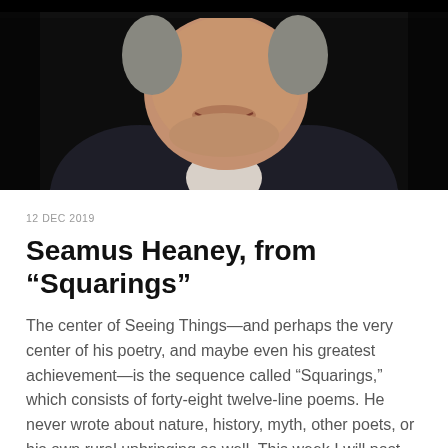[Figure (photo): Close-up photograph of an elderly man in a dark suit jacket and white collared shirt, smiling, against a dark background. Only the lower portion of his face and upper torso are visible.]
12 DEC 2019
Seamus Heaney, from “Squarings”
The center of Seeing Things—and perhaps the very center of his poetry, and maybe even his greatest achievement—is the sequence called “Squarings,” which consists of forty-eight twelve-line poems. He never wrote about nature, history, myth, other poets, or his own rural upbringing so well. This week I will post my favorite poems from each of